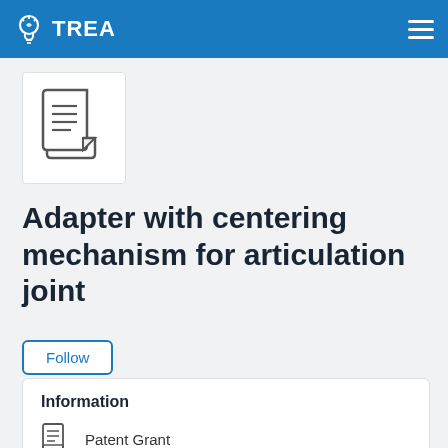TREA
[Figure (illustration): Document icon — outline of a document with text lines and folded corner]
Adapter with centering mechanism for articulation joint
Follow
Information
Patent Grant
11337697
References